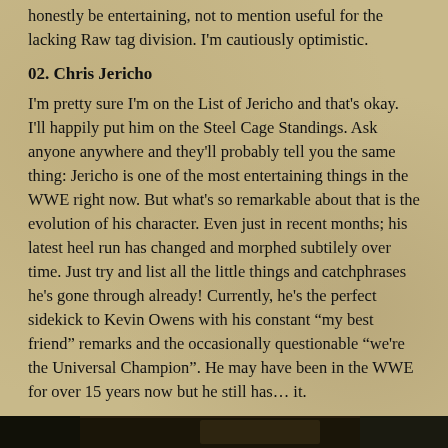honestly be entertaining, not to mention useful for the lacking Raw tag division. I'm cautiously optimistic.
02. Chris Jericho
I'm pretty sure I'm on the List of Jericho and that's okay. I'll happily put him on the Steel Cage Standings. Ask anyone anywhere and they'll probably tell you the same thing: Jericho is one of the most entertaining things in the WWE right now. But what's so remarkable about that is the evolution of his character. Even just in recent months; his latest heel run has changed and morphed subtilely over time. Just try and list all the little things and catchphrases he's gone through already! Currently, he's the perfect sidekick to Kevin Owens with his constant “my best friend” remarks and the occasionally questionable “we're the Universal Champion”. He may have been in the WWE for over 15 years now but he still has… it.
01. Kevin Owens
[Figure (photo): Dark image strip at the bottom of the page]